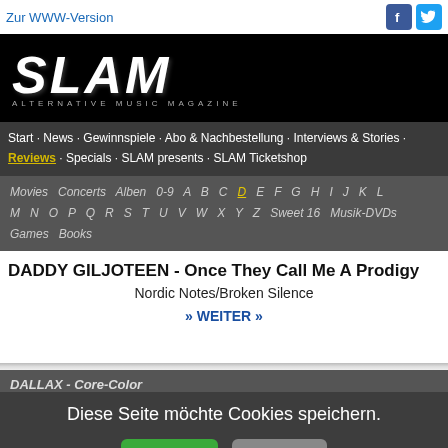Zur WWW-Version
[Figure (logo): SLAM Alternative Music Magazine logo, white text on black background]
Start · News · Gewinnspiele · Abo & Nachbestellung · Interviews & Stories · Reviews · Specials · SLAM presents · SLAM Ticketshop
Movies  Concerts  Alben  0-9  A  B  C  D  E  F  G  H  I  J  K  L  M  N  O  P  Q  R  S  T  U  V  W  X  Y  Z  Sweet 16  Musik-DVDs  Games  Books
DADDY GILJOTEEN - Once They Call Me A Prodigy
Nordic Notes/Broken Silence
» WEITER »
DALLAX - Core-Color
Diese Seite möchte Cookies speichern.
Okay  Infos